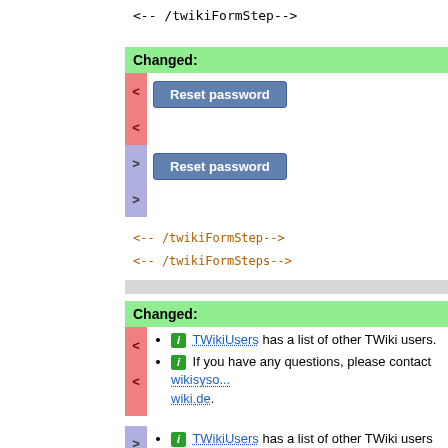<-- /twikiFormStep-->
Changed:
< Reset password
< Reset password
> Reset password
> Reset password
<-- /twikiFormStep-->
<-- /twikiFormSteps-->
Changed:
TWikiUsers has a list of other TWiki users.
If you have any questions, please contact wikisysop@wiki.de.
TWikiUsers has a list of other TWiki users
If you have any questions, please contact wikisysop